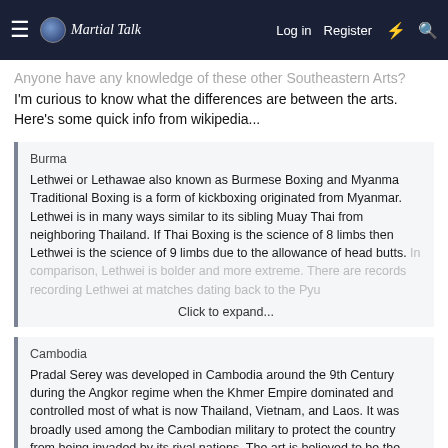Martial Talk — Log in | Register
Anyone have any knowledge of these other Southeastern Arts? I'm curious to know what the differences are between the arts. Here's some quick info from wikipedia...
Burma
Lethwei or Lethawae also known as Burmese Boxing and Myanma Traditional Boxing is a form of kickboxing originated from Myanmar. Lethwei is in many ways similar to its sibling Muay Thai from neighboring Thailand. If Thai Boxing is the science of 8 limbs then Lethwei is the science of 9 limbs due to the allowance of head butts.
In comparison, Lethwei is bolder and more extreme. There are records recording Lethwei at matches dating back to the Pyu
Click to expand...
Cambodia
Pradal Serey was developed in Cambodia around the 9th Century during the Angkor regime when the Khmer Empire dominated and controlled most of what is now Thailand, Vietnam, and Laos. It was broadly used among the Cambodian military to protect the country from being invaded by its rival nations. The art is believed to be the